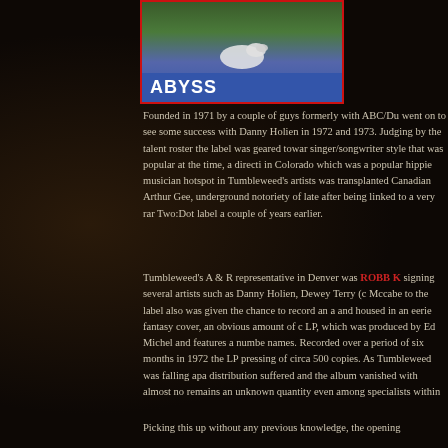[Figure (photo): Album cover image showing 'ABYSS' text on a blue band at the bottom, with a nature scene above, bordered in red]
Founded in 1971 by a couple of guys formerly with ABC/Du went on to see some success with Danny Holien in 1972 and 1973. Judging by the talent roster the label was geared towar singer/songwriter style that was popular at the time, a directi in Colorado which was a popular hippie musician hotspot in Tumbleweed's artists was transplanted Canadian Arthur Gee, underground notoriety of late after being linked to a very rar Two:Dot label a couple of years earlier.
Tumbleweed's A & R representative in Denver was ROBB K signing several artists such as Danny Holien, Dewey Terry (c Mccabe to the label also was given the chance to record an a and housed in an eerie fantasy cover, an obvious amount of c LP, which was produced by Ed Michel and features a numbe names. Recorded over a period of six months in 1972 the LP pressing of circa 500 copies. As Tumbleweed was falling apa distribution suffered and the album vanished with almost no remains an unknown quantity even among specialists within
Picking this up without any previous knowledge, the opening